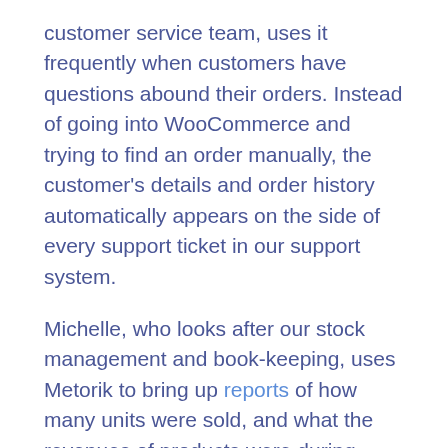customer service team, uses it frequently when customers have questions abound their orders. Instead of going into WooCommerce and trying to find an order manually, the customer's details and order history automatically appears on the side of every support ticket in our support system.
Michelle, who looks after our stock management and book-keeping, uses Metorik to bring up reports of how many units were sold, and what the revenues of products were during certain periods. This is very helpful from a financial perspective and can then be used to drive purchasing decisions.
The last piece of the puzzle is dispatch. Before we created ClearShip, we set up a monitor in the dispatch area in portrait orientation. It was connected